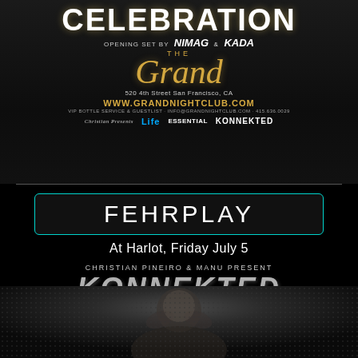CELEBRATION
OPENING SET BY NIMAG & KADA
[Figure (logo): The Grand nightclub logo in gold script with 'THE' above]
520 4th Street San Francisco, CA
WWW.GRANDNIGHTCLUB.COM
VIP BOTTLE SERVICE & GUESTLIST - INFO@GRANDNIGHTCLUB.COM - 415.636.0029
Christian Presents | LIFE | ESSENTIAL | KONNEKTED
FEHRPLAY
At Harlot, Friday July 5
CHRISTIAN PINEIRO & MANU PRESENT
KONNEKTED
[Figure (photo): Photo of a person with head in hands against dark dotted background]